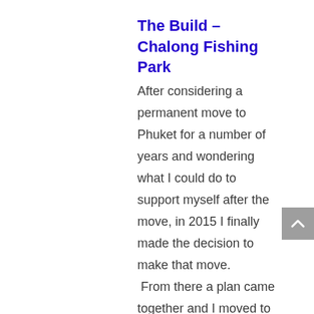The Build – Chalong Fishing Park
After considering a permanent move to Phuket for a number of years and wondering what I could do to support myself after the move, in 2015 I finally made the decision to make that move.  From there a plan came together and I moved to Phuket just under a year ago with the intent to run a fishing lake.  Slowly that plan was put together and after taking a couple of U turns away from existing fisheries my partner, Jen, and I decided we would undertake the building of a lake from scratch.
We immediately began to look for a piece of land that would fit the needs of our